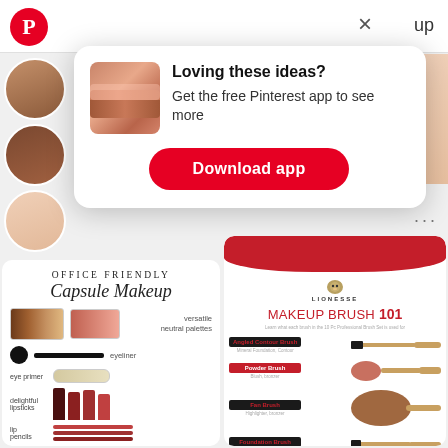[Figure (screenshot): Pinterest app download modal overlay on a Pinterest browse page showing makeup content. Modal has a lip glitter image thumbnail, 'Loving these ideas? Get the free Pinterest app to see more' text, and a red 'Download app' button. Background shows Pinterest logo, close X button, 'up' text, profile circles, and two makeup infographic cards: 'Office Friendly Capsule Makeup' on left and 'MAKEUP BRUSH 101' by Lionesse on right.]